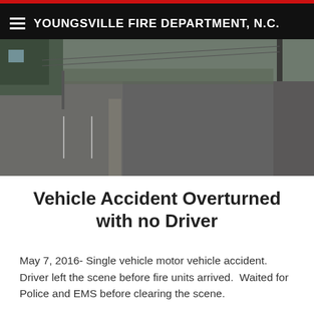YOUNGSVILLE FIRE DEPARTMENT, N.C.
[Figure (photo): Street-level photograph of a road with yellow center lines and a sidewalk area on the left side, typical small-town downtown street scene.]
Vehicle Accident Overturned with no Driver
May 7, 2016- Single vehicle motor vehicle accident. Driver left the scene before fire units arrived.  Waited for Police and EMS before clearing the scene.